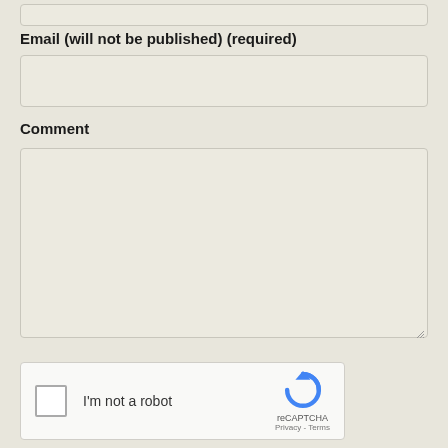Email (will not be published) (required)
[Figure (screenshot): Empty email input text field]
Comment
[Figure (screenshot): Empty comment textarea with resize handle]
[Figure (screenshot): reCAPTCHA widget with checkbox 'I'm not a robot' and reCAPTCHA logo with Privacy and Terms links]
[Figure (screenshot): Submit Comment button in orange]